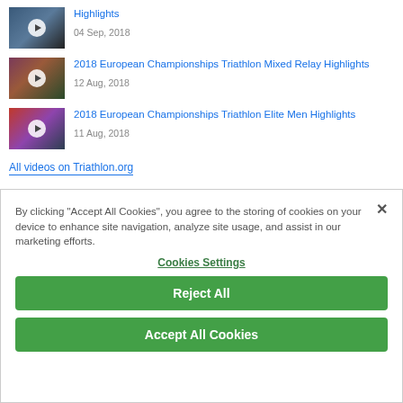Highlights
04 Sep, 2018
2018 European Championships Triathlon Mixed Relay Highlights
12 Aug, 2018
2018 European Championships Triathlon Elite Men Highlights
11 Aug, 2018
All videos on Triathlon.org
By clicking "Accept All Cookies", you agree to the storing of cookies on your device to enhance site navigation, analyze site usage, and assist in our marketing efforts.
Cookies Settings
Reject All
Accept All Cookies